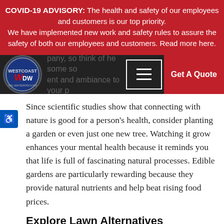COVID-19 ADVISORY: The health and safety of our employees and customers is our top priority. We have implemented new work and safety rules to assure the safety of both our employees and customers. Read more here.
[Figure (logo): Westcoast DW logo with hamburger menu and Get A Quote button navigation bar]
Since scientific studies show that connecting with nature is good for a person's health, consider planting a garden or even just one new tree. Watching it grow enhances your mental health because it reminds you that life is full of fascinating natural processes. Edible gardens are particularly rewarding because they provide natural nutrients and help beat rising food prices.
Explore Lawn Alternatives
As the name of the best company, we have done...